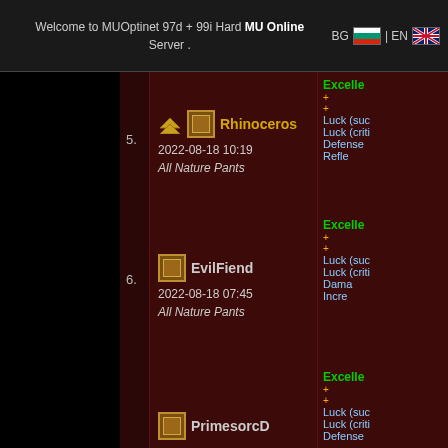Welcome to MUOptinet 97d + 99i Hard MU Online Server . BG | EN
5. Rhinoceros 2022-08-18 10:19 All Nature Pants Excellent Luck (suc Luck (criti Defense Refle
6. EvilFiend 2022-08-18 07:45 All Nature Pants Excellent Luck (suc Luck (criti Dama Incre
PrimesorcD Defense